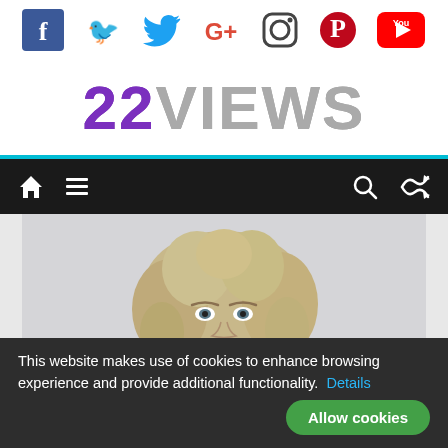[Figure (other): Social media icons bar: Facebook (f), Twitter (bird), Google+ (G+), Instagram (camera), Pinterest (P), YouTube (You logo)]
22VIEWS
[Figure (other): Navigation bar with home icon, hamburger menu, search icon, and shuffle icon on dark background]
[Figure (photo): Black and white photo of a blonde woman with curly hair wearing a black lace top and necklace, posing glamorously]
This website makes use of cookies to enhance browsing experience and provide additional functionality. Details
Allow cookies